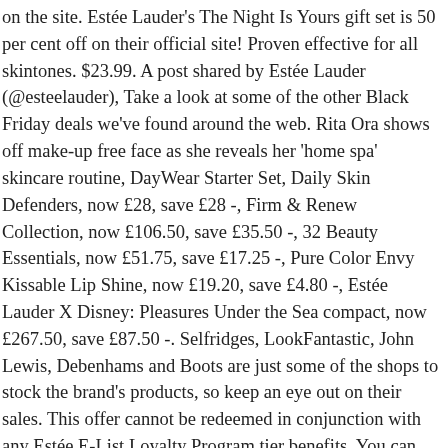on the site. Estée Lauder's The Night Is Yours gift set is 50 per cent off on their official site! Proven effective for all skintones. $23.99. A post shared by Estée Lauder (@esteelauder), Take a look at some of the other Black Friday deals we've found around the web. Rita Ora shows off make-up free face as she reveals her 'home spa' skincare routine, DayWear Starter Set, Daily Skin Defenders, now £28, save £28 -, Firm & Renew Collection, now £106.50, save £35.50 -, 32 Beauty Essentials, now £51.75, save £17.25 -, Pure Color Envy Kissable Lip Shine, now £19.20, save £4.80 -, Estée Lauder X Disney: Pleasures Under the Sea compact, now £267.50, save £87.50 -. Selfridges, LookFantastic, John Lewis, Debenhams and Boots are just some of the shops to stock the brand's products, so keep an eye out on their sales. This offer cannot be redeemed in conjunction with any Estée E-List Loyalty Program tier benefits. You can also find Estée Lauder on sale at Boots and Lookfantastic, where you can currently enjoy a 20 per cent discount on makeup. Brand New. Look out for special offers and free gifts from Estée Lauder. Estée Lauder réunit ses essentiels pour passer un beau